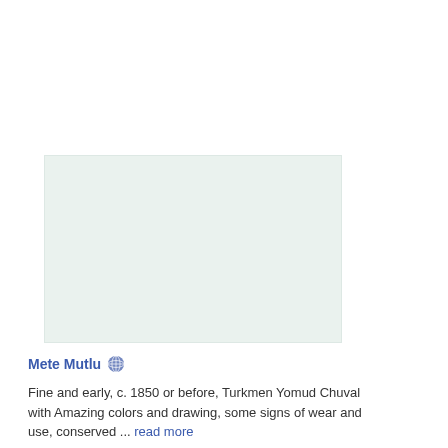[Figure (other): Light mint/green blank rectangular image placeholder area]
Mete Mutlu 🌐
Fine and early, c. 1850 or before, Turkmen Yomud Chuval with Amazing colors and drawing, some signs of wear and use, conserved ... read more